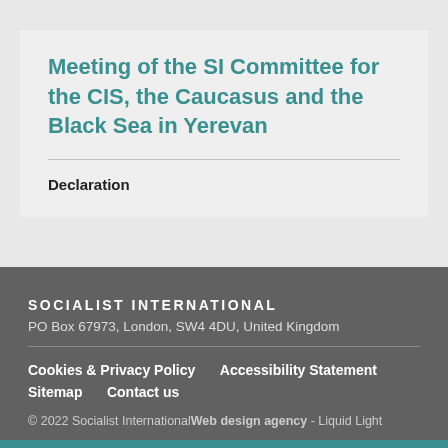Meeting of the SI Committee for the CIS, the Caucasus and the Black Sea in Yerevan
Declaration
SOCIALIST INTERNATIONAL
PO Box 67973, London, SW4 4DU, United Kingdom
Cookies & Privacy Policy   Accessibility Statement
Sitemap   Contact us
© 2022 Socialist InternationalWeb design agency - Liquid Light